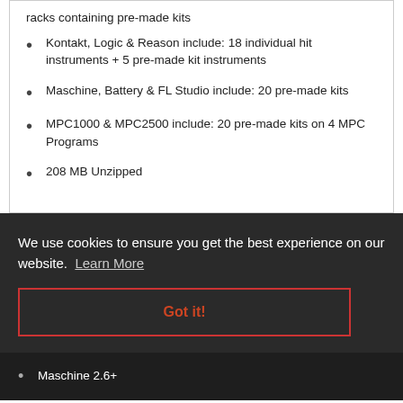racks containing pre-made kits
Kontakt, Logic & Reason include: 18 individual hit instruments + 5 pre-made kit instruments
Maschine, Battery & FL Studio include: 20 pre-made kits
MPC1000 & MPC2500 include: 20 pre-made kits on 4 MPC Programs
208 MB Unzipped
We use cookies to ensure you get the best experience on our website. Learn More
Got it!
Maschine 2.6+